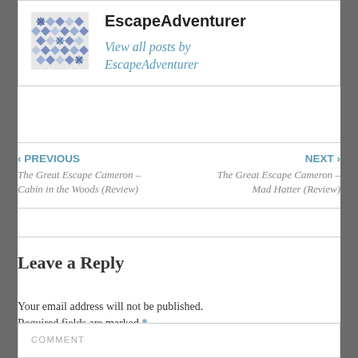[Figure (illustration): Geometric pixel-art style avatar with blue/purple diamond pattern]
EscapeAdventurer
View all posts by EscapeAdventurer
‹ PREVIOUS
The Great Escape Cameron – Cabin in the Woods (Review)
NEXT ›
The Great Escape Cameron – Mad Hatter (Review)
Leave a Reply
Your email address will not be published. Required fields are marked *
COMMENT